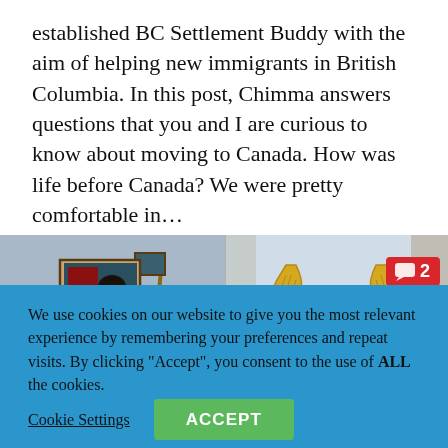established BC Settlement Buddy with the aim of helping new immigrants in British Columbia. In this post, Chimma answers questions that you and I are curious to know about moving to Canada. How was life before Canada? We were pretty comfortable in...
[Figure (photo): Two-panel photo: left panel shows a woman standing in front of an easel with artwork outdoors; right panel shows golden wing-shaped sculptures displayed outdoors. A red badge with a comment icon and number 2 is overlaid on the top-right.]
We use cookies on our website to give you the most relevant experience by remembering your preferences and repeat visits. By clicking "Accept", you consent to the use of ALL the cookies.
Cookie Settings
ACCEPT